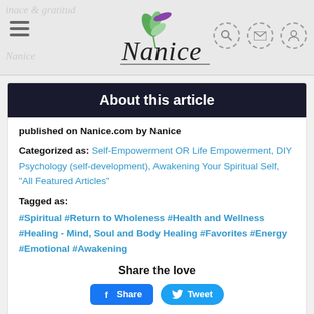Nanice.com header with logo, navigation hamburger, search, mail, and user icons
About this article
published on Nanice.com by Nanice
Categorized as: Self-Empowerment OR Life Empowerment, DIY Psychology (self-development), Awakening Your Spiritual Self, "All Featured Articles"
Tagged as:
#Spiritual #Return to Wholeness #Health and Wellness #Healing - Mind, Soul and Body Healing #Favorites #Energy #Emotional #Awakening
Share the love
Share  Tweet